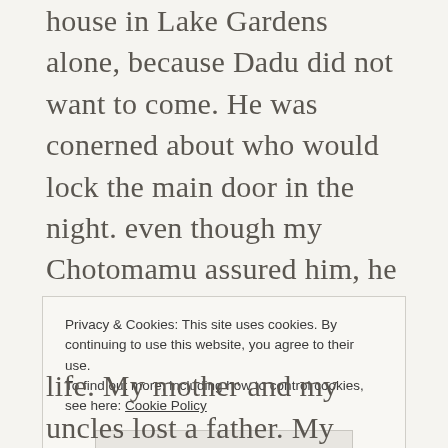house in Lake Gardens alone, because Dadu did not want to come. He was conerned about who would lock the main door in the night. even though my Chotomamu assured him, he would still be thinking. the last time he visited out house or went out anywhere for a long spell of time was in 2011, during my wedding. My Didun used to complain that she could not go anywhere because Dadu will not go and she could not leave her alone. Today when I spoke to her over phone, cutting across thousands of
Privacy & Cookies: This site uses cookies. By continuing to use this website, you agree to their use.
To find out more, including how to control cookies, see here: Cookie Policy
[Close and accept button]
life. My mother and my uncles lost a father. My